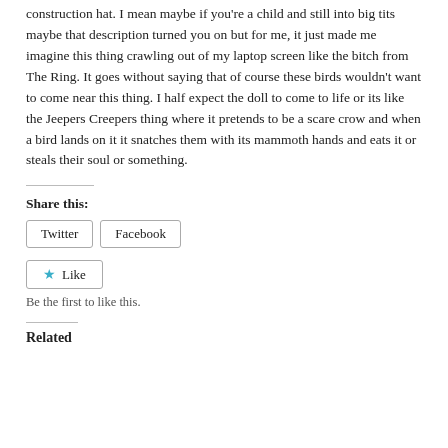construction hat. I mean maybe if you're a child and still into big tits maybe that description turned you on but for me, it just made me imagine this thing crawling out of my laptop screen like the bitch from The Ring. It goes without saying that of course these birds wouldn't want to come near this thing. I half expect the doll to come to life or its like the Jeepers Creepers thing where it pretends to be a scare crow and when a bird lands on it it snatches them with its mammoth hands and eats it or steals their soul or something.
Share this:
Twitter   Facebook
★ Like
Be the first to like this.
Related